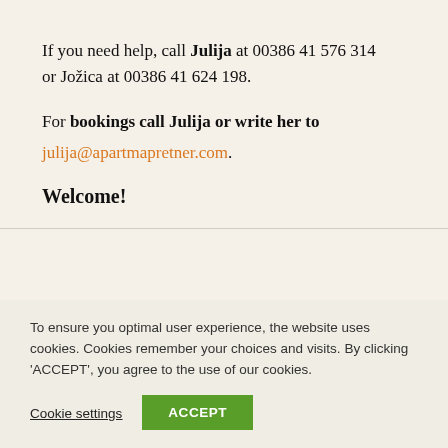If you need help, call Julija at 00386 41 576 314 or Jožica at 00386 41 624 198.
For bookings call Julija or write her to julija@apartmapretner.com.
Welcome!
To ensure you optimal user experience, the website uses cookies. Cookies remember your choices and visits. By clicking 'ACCEPT', you agree to the use of our cookies.
Cookie settings
ACCEPT